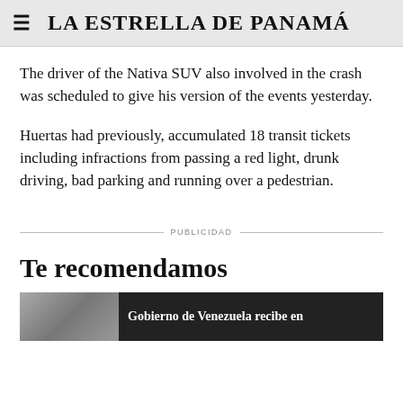LA ESTRELLA DE PANAMÁ
The driver of the Nativa SUV also involved in the crash was scheduled to give his version of the events yesterday.
Huertas had previously, accumulated 18 transit tickets including infractions from passing a red light, drunk driving, bad parking and running over a pedestrian.
PUBLICIDAD
Te recomendamos
Gobierno de Venezuela recibe en